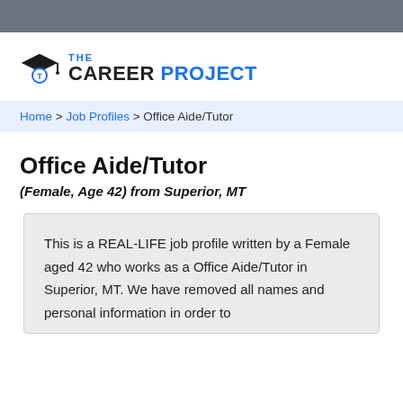[Figure (logo): The Career Project logo with graduation cap icon, 'THE' in blue, 'CAREER' in black bold, 'PROJECT' in blue bold]
Home > Job Profiles > Office Aide/Tutor
Office Aide/Tutor
(Female, Age 42) from Superior, MT
This is a REAL-LIFE job profile written by a Female aged 42 who works as a Office Aide/Tutor in Superior, MT. We have removed all names and personal information in order to